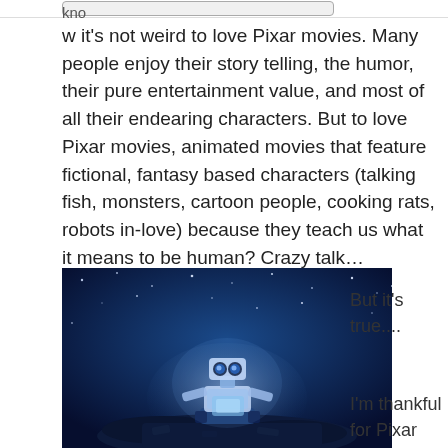kno
w it's not weird to love Pixar movies. Many people enjoy their story telling, the humor, their pure entertainment value, and most of all their endearing characters. But to love Pixar movies, animated movies that feature fictional, fantasy based characters (talking fish, monsters, cartoon people, cooking rats, robots in-love) because they teach us what it means to be human? Crazy talk…
[Figure (photo): WALL-E robot sitting on top of a pile of debris against a starry night blue sky, glowing with soft light]
But it's true....
I'm thankful for Pixar